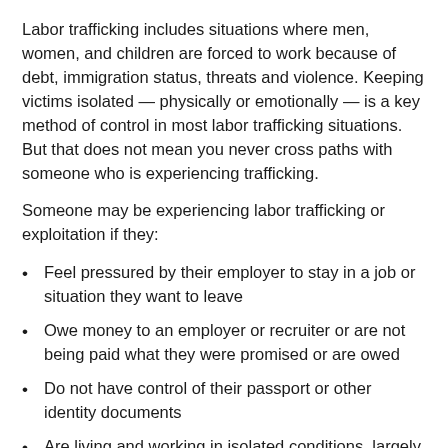Labor trafficking includes situations where men, women, and children are forced to work because of debt, immigration status, threats and violence. Keeping victims isolated — physically or emotionally — is a key method of control in most labor trafficking situations. But that does not mean you never cross paths with someone who is experiencing trafficking.
Someone may be experiencing labor trafficking or exploitation if they:
Feel pressured by their employer to stay in a job or situation they want to leave
Owe money to an employer or recruiter or are not being paid what they were promised or are owed
Do not have control of their passport or other identity documents
Are living and working in isolated conditions, largely cut off from interaction with others or support systems
Appear to be monitored by another person when